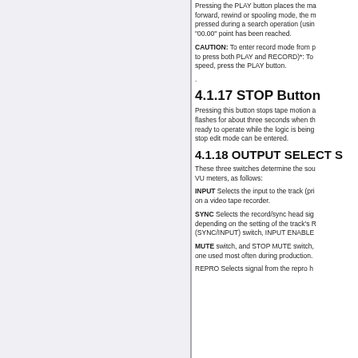Pressing the PLAY button places the machine in play mode. If in fast forward, rewind or spooling mode, the machine enters play mode. If pressed during a search operation (using the cue wheel), play begins when "00.00" point has been reached.
CAUTION: To enter record mode from play mode (it is not necessary to press both PLAY and RECORD)*: To return from record to play speed, press the PLAY button.
.
4.1.17 STOP Button
Pressing this button stops tape motion and so on. The STOP button flashes for about three seconds when the machine is not completely ready to operate while the logic is being reset. During this time, no stop edit mode can be entered.
4.1.18 OUTPUT SELECT S
These three switches determine the source of signals to the outputs and VU meters, as follows:
INPUT Selects the input to the track (primarily the A input as it is used on a video tape recorder.
SYNC Selects the record/sync head signal. The sync signal may vary depending on the setting of the track's REPRO mode (SYNC/INPUT) switch, INPUT ENABLE
MUTE switch, and STOP MUTE switch, selecting whichever one used most often during production.
REPRO Selects signal from the repro head.